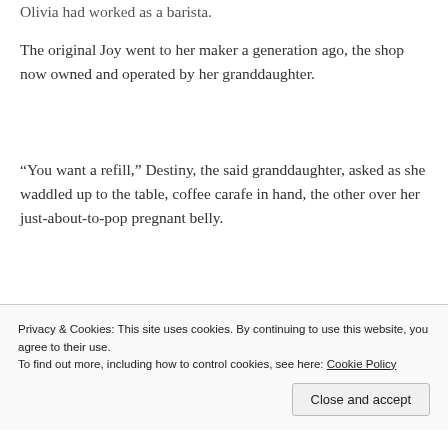Olivia had worked as a barista.
The original Joy went to her maker a generation ago, the shop now owned and operated by her granddaughter.
“You want a refill,” Destiny, the said granddaughter, asked as she waddled up to the table, coffee carafe in hand, the other over her just-about-to-pop pregnant belly.
“I’m good, Des, thanks.” Olivia smiled. “I’m waiting for someone.”
Destiny nodded, her hair a cloud of waves
Privacy & Cookies: This site uses cookies. By continuing to use this website, you agree to their use.
To find out more, including how to control cookies, see here: Cookie Policy
Close and accept